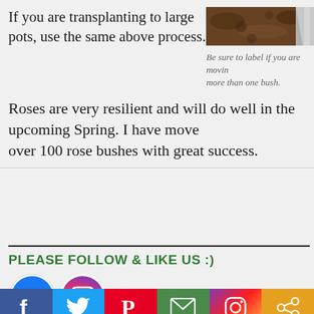If you are transplanting to large pots, use the same above process.
[Figure (photo): Soil/dirt with a shovel or trowel visible, gardening photo]
Be sure to label if you are moving more than one bush.
Roses are very resilient and will do well in the upcoming Spring. I have moved over 100 rose bushes with great success.
PLEASE FOLLOW & LIKE US :)
[Figure (logo): Facebook and Instagram social media icons]
[Figure (infographic): Social share bar with Facebook, Twitter, Pinterest, Email, Instagram, and Share buttons]